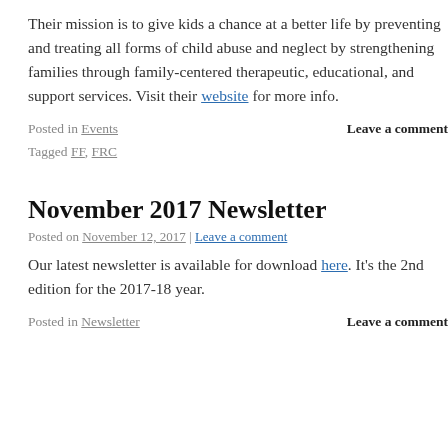Their mission is to give kids a chance at a better life by preventing and treating all forms of child abuse and neglect by strengthening families through family-centered therapeutic, educational, and support services. Visit their website for more info.
Posted in Events   Leave a comment
Tagged FF, FRC
November 2017 Newsletter
Posted on November 12, 2017 | Leave a comment
Our latest newsletter is available for download here. It's the 2nd edition for the 2017-18 year.
Posted in Newsletter   Leave a comment